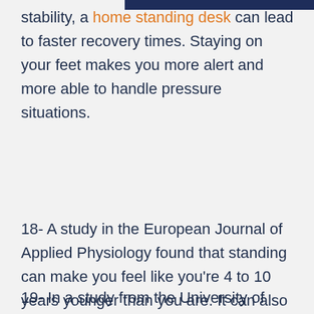stability, a home standing desk can lead to faster recovery times. Staying on your feet makes you more alert and more able to handle pressure situations.
18- A study in the European Journal of Applied Physiology found that standing can make you feel like you're 4 to 10 years younger than you are. It can also keep your body in a better shape than sitting.
19- In a study from the University of Auckland,